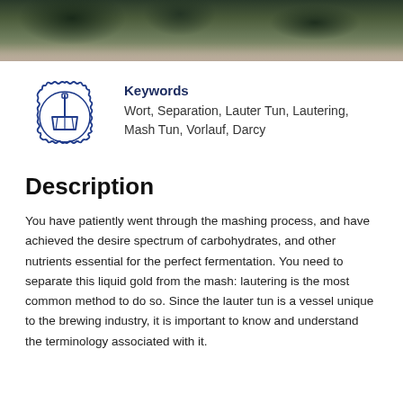[Figure (photo): Dark header photo showing hops or grain on a wooden surface, dark green and brown tones]
[Figure (illustration): Blue circular badge icon with a mash paddle/rake tool inside, styled with a gear/dentil border]
Keywords
Wort, Separation, Lauter Tun, Lautering, Mash Tun, Vorlauf, Darcy
Description
You have patiently went through the mashing process, and have achieved the desire spectrum of carbohydrates, and other nutrients essential for the perfect fermentation. You need to separate this liquid gold from the mash: lautering is the most common method to do so. Since the lauter tun is a vessel unique to the brewing industry, it is important to know and understand the terminology associated with it.